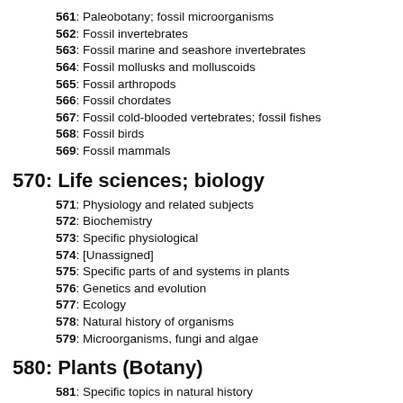561: Paleobotany; fossil microorganisms
562: Fossil invertebrates
563: Fossil marine and seashore invertebrates
564: Fossil mollusks and molluscoids
565: Fossil arthropods
566: Fossil chordates
567: Fossil cold-blooded vertebrates; fossil fishes
568: Fossil birds
569: Fossil mammals
570: Life sciences; biology
571: Physiology and related subjects
572: Biochemistry
573: Specific physiological
574: [Unassigned]
575: Specific parts of and systems in plants
576: Genetics and evolution
577: Ecology
578: Natural history of organisms
579: Microorganisms, fungi and algae
580: Plants (Botany)
581: Specific topics in natural history